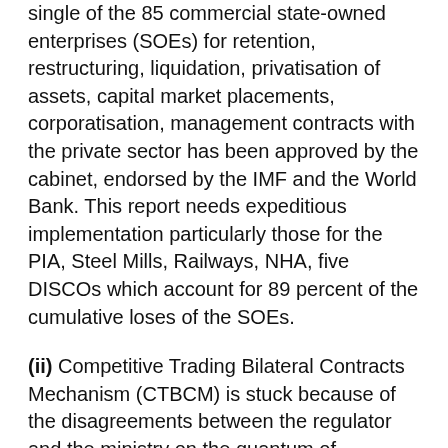single of the 85 commercial state-owned enterprises (SOEs) for retention, restructuring, liquidation, privatisation of assets, capital market placements, corporatisation, management contracts with the private sector has been approved by the cabinet, endorsed by the IMF and the World Bank. This report needs expeditious implementation particularly those for the PIA, Steel Mills, Railways, NHA, five DISCOs which account for 89 percent of the cumulative loses of the SOEs.
(ii) Competitive Trading Bilateral Contracts Mechanism (CTBCM) is stuck because of the disagreements between the regulator and the ministry on the quantum of wheeling charges.